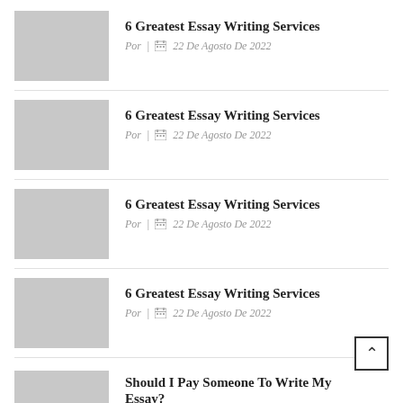6 Greatest Essay Writing Services
Por | 22 De Agosto De 2022
6 Greatest Essay Writing Services
Por | 22 De Agosto De 2022
6 Greatest Essay Writing Services
Por | 22 De Agosto De 2022
6 Greatest Essay Writing Services
Por | 22 De Agosto De 2022
Should I Pay Someone To Write My Essay?